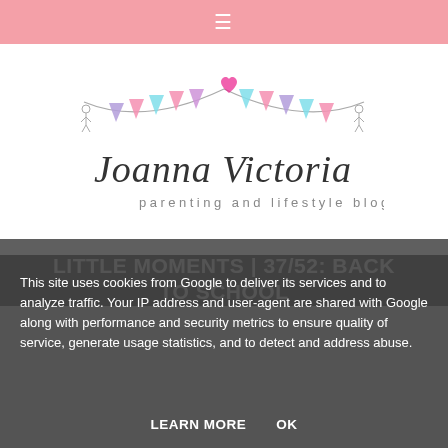≡
[Figure (logo): Joanna Victoria parenting and lifestyle blog logo with bunting banner illustration]
LITTLE MOMENTS | 37/52: BACK TO SCHOOL
This week it was finally time to head back to school. Monday was back to school for Blake and into year one. He was slightly unsure about going into a different part of the building but he managed to settle quickly. We met his new teacher briefly who seems really lovely.
This site uses cookies from Google to deliver its services and to analyze traffic. Your IP address and user-agent are shared with Google along with performance and security metrics to ensure quality of service, generate usage statistics, and to detect and address abuse.
LEARN MORE    OK